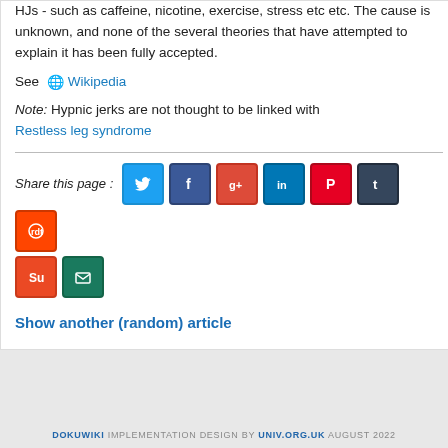HJs - such as caffeine, nicotine, exercise, stress etc etc. The cause is unknown, and none of the several theories that have attempted to explain it has been fully accepted.
See 🌐 Wikipedia
Note: Hypnic jerks are not thought to be linked with Restless leg syndrome
[Figure (infographic): Social sharing buttons: Twitter, Facebook, Google+, LinkedIn, Pinterest, Tumblr, Reddit, StumbleUpon, Email]
Show another (random) article
DOKUWIKI IMPLEMENTATION DESIGN BY UNIV.ORG.UK AUGUST 2022